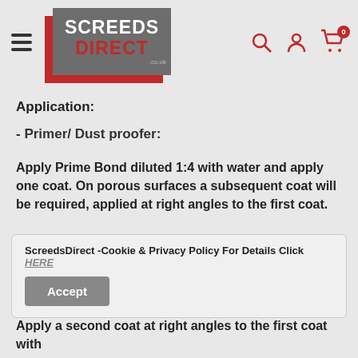[Figure (logo): ScreedsDirect.co.uk logo with grey and red background rectangles]
Application:
- Primer/ Dust proofer:
Apply Prime Bond diluted 1:4 with water and apply one coat. On porous surfaces a subsequent coat will be required, applied at right angles to the first coat.
ScreedsDirect -Cookie & Privacy Policy For Details Click HERE
Apply a second coat at right angles to the first coat with